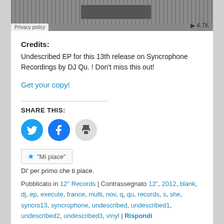[Figure (screenshot): Audio waveform player bar with Privacy policy badge and 4.7K play count]
Credits:
Undescribed EP for this 13th release on Syncrophone Recordings by DJ Qu. ! Don't miss this out!
Get your copy!
SHARE THIS:
[Figure (infographic): Share buttons: Twitter, Facebook, Print]
"Mi piace"
Di' per primo che ti piace.
Pubblicato in 12" Records | Contrassegnato 12", 2012, blank, dj, ep, execute, france, multi, nov, q, qu, records, s, she, syncro13, syncrophone, undescribed, undescribed1, undescribed2, undescribed3, vinyl | Rispondi